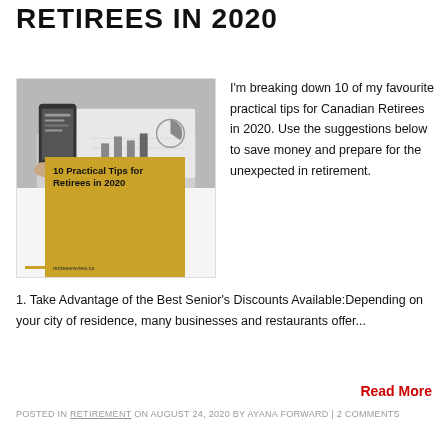RETIREES IN 2020
[Figure (illustration): Book cover image showing '10 Practical Tips for Retirees in 2020' with a gold/yellow card overlay and a photo of hands holding a phone with charts, gold accent bar on left and gold line at bottom left. URL: retireesreview.ca]
I'm breaking down 10 of my favourite practical tips for Canadian Retirees in 2020. Use the suggestions below to save money and prepare for the unexpected in retirement.1. Take Advantage of the Best Senior's Discounts Available:Depending on your city of residence, many businesses and restaurants offer...
Read More
POSTED IN RETIREMENT ON AUGUST 24, 2020 BY AYANA FORWARD | 2 COMMENTS